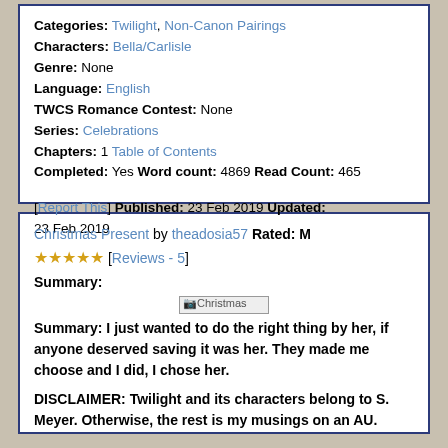Categories: Twilight, Non-Canon Pairings
Characters: Bella/Carlisle
Genre: None
Language: English
TWCS Romance Contest: None
Series: Celebrations
Chapters: 1 Table of Contents
Completed: Yes Word count: 4869 Read Count: 465
[Report This] Published: 23 Feb 2019 Updated: 23 Feb 2019
Christmas Present by theadosia57 Rated: M ★★★★★ [Reviews - 5]
Summary:
[Christmas image]
Summary: I just wanted to do the right thing by her, if anyone deserved saving it was her. They made me choose and I did, I chose her.
DISCLAIMER: Twilight and its characters belong to S. Meyer. Otherwise, the rest is my musings on an AU.